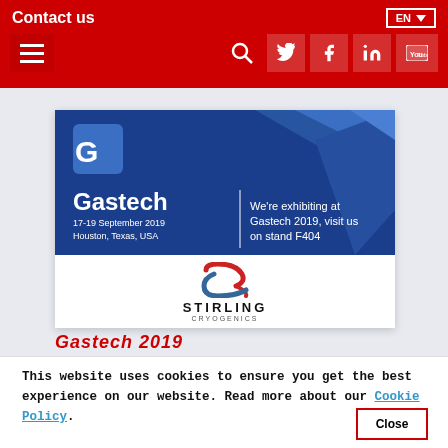Contact us | EN
[Figure (screenshot): Gastech 2019 exhibition banner for Stirling Cryogenics. Blue background with Gastech logo and text: We're exhibiting at Gastech 2019, visit us on stand F404. White lower section with Stirling Cryogenics logo and wordmark. Event: 17-19 September 2019, Houston, Texas, USA.]
Gastech 2019
This website uses cookies to ensure you get the best experience on our website. Read more about our Cookie Policy.